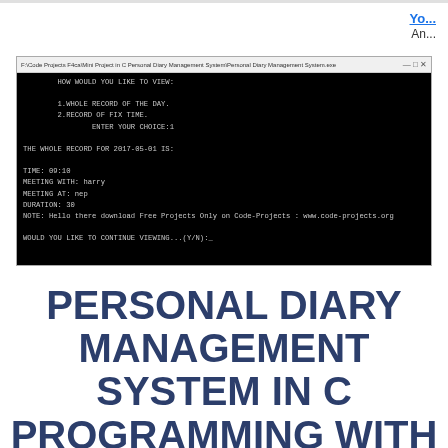Yo... An...
[Figure (screenshot): Windows command prompt/console window showing a Personal Diary Management System program output. Title bar reads: F:\Code Projects F4ca\Mini Project in C Personal Diary Management System\Personal Diary Management System.exe. Console shows text: HOW WOULD YOU LIKE TO VIEW: 1.WHOLE RECORD OF THE DAY. 2.RECORD OF FIX TIME. ENTER YOUR CHOICE:1 THE WHOLE RECORD FOR 2017-05-01 IS: TIME: 09:10 MEETING WITH: harry MEETING AT: nep DURATION: 30 NOTE: Hello there download Free Projects Only on Code-Projects : www.code-projects.org WOULD YOU LIKE TO CONTINUE VIEWING...(Y/N):_]
PERSONAL DIARY MANAGEMENT SYSTEM IN C PROGRAMMING WITH SOURCE CODE